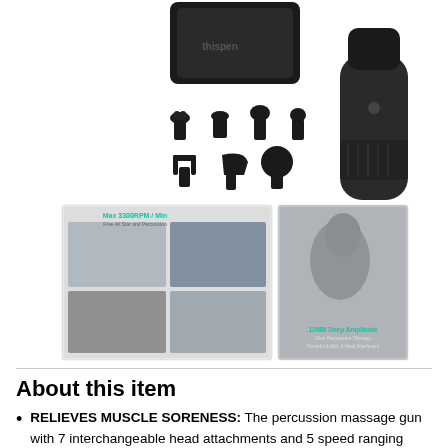[Figure (photo): Product photo showing a massage gun with 7 interchangeable head attachments laid out, a carrying case at the top, and the massage gun device on the right side. Below are two promotional images: one showing Max 3300RPM/Min feature with multiple lifestyle photos, and another showing a person using the massage gun with text about 12mm Deep Amplitude.]
About this item
RELIEVES MUSCLE SORENESS: The percussion massage gun with 7 interchangeable head attachments and 5 speed ranging from 640